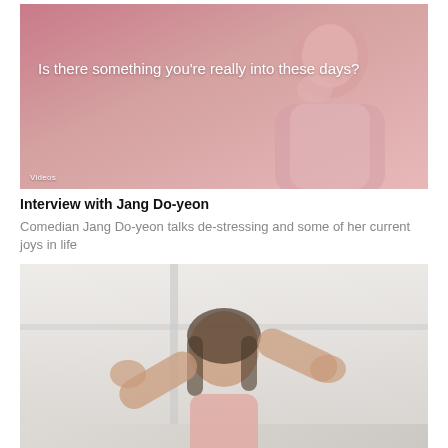[Figure (screenshot): Video thumbnail showing a woman in pink clothing against a pink background with white text overlay: 'Is there something you're really into these days?' and 'Videos' label in lower left]
Interview with Jang Do-yeon
Comedian Jang Do-yeon talks de-stressing and some of her current joys in life
[Figure (screenshot): Video thumbnail showing a woman in pink top with arms raised, against a light interior background, with 'Face Voice' label in lower left]
Interview with Ham Eun-jung